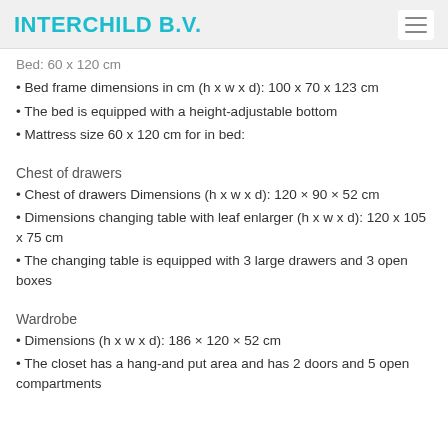INTERCHILD B.V.
Bed: 60 x 120 cm
Bed frame dimensions in cm (h x w x d): 100 x 70 x 123 cm
The bed is equipped with a height-adjustable bottom
Mattress size 60 x 120 cm for in bed:
Chest of drawers
Chest of drawers Dimensions (h x w x d): 120 × 90 × 52 cm
Dimensions changing table with leaf enlarger (h x w x d): 120 x 105 x 75 cm
The changing table is equipped with 3 large drawers and 3 open boxes
Wardrobe
Dimensions (h x w x d): 186 × 120 × 52 cm
The closet has a hang-and put area and has 2 doors and 5 open compartments